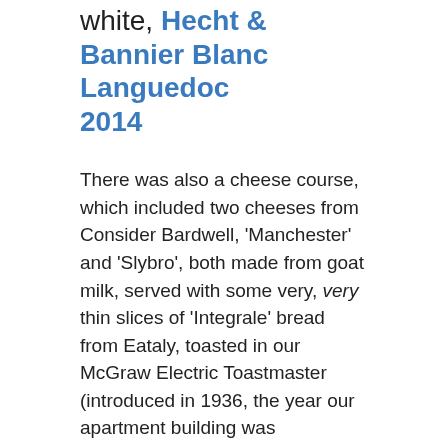white, Hecht & Bannier Blanc Languedoc 2014
There was also a cheese course, which included two cheeses from Consider Bardwell, 'Manchester' and 'Slybro', both made from goat milk, served with some very, very thin slices of 'Integrale' bread from Eataly, toasted in our McGraw Electric Toastmaster (introduced in 1936, the year our apartment building was completed).
← grilled squid, oregano, lemon; lima beans with mint
cauliflower frittata, with cayenne, parmesan, tomato →